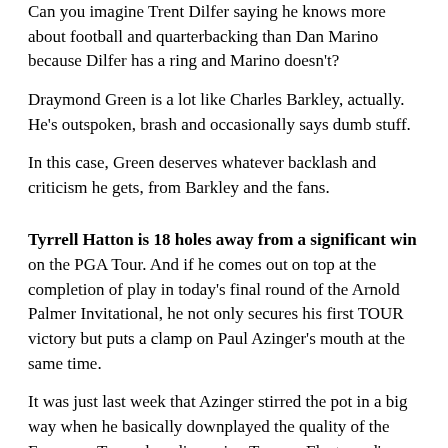Can you imagine Trent Dilfer saying he knows more about football and quarterbacking than Dan Marino because Dilfer has a ring and Marino doesn't?
Draymond Green is a lot like Charles Barkley, actually. He's outspoken, brash and occasionally says dumb stuff.
In this case, Green deserves whatever backlash and criticism he gets, from Barkley and the fans.
Tyrrell Hatton is 18 holes away from a significant win on the PGA Tour. And if he comes out on top at the completion of play in today's final round of the Arnold Palmer Invitational, he not only secures his first TOUR victory but puts a clamp on Paul Azinger's mouth at the same time.
It was just last week that Azinger stirred the pot in a big way when he basically downplayed the quality of the European Tour when discussing Tommy Fleetwood's